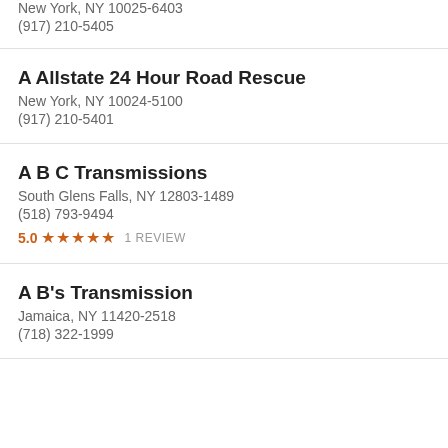New York, NY 10025-6403
(917) 210-5405
A Allstate 24 Hour Road Rescue
New York, NY 10024-5100
(917) 210-5401
A B C Transmissions
South Glens Falls, NY 12803-1489
(518) 793-9494
5.0 ★★★★★ 1 REVIEW
A B's Transmission
Jamaica, NY 11420-2518
(718) 322-1999